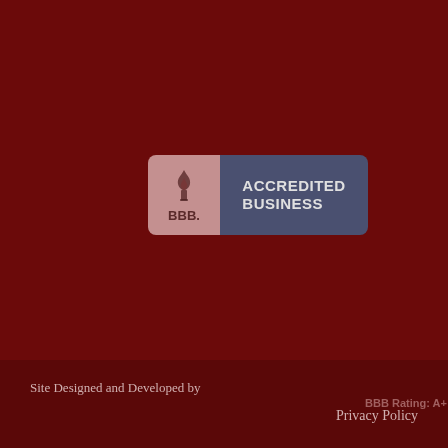[Figure (logo): BBB Accredited Business badge with flame/torch logo on left pink panel and 'ACCREDITED BUSINESS' text on right dark blue panel, with 'BBB Rating: A+' text below]
Site Designed and Developed by
Privacy Policy